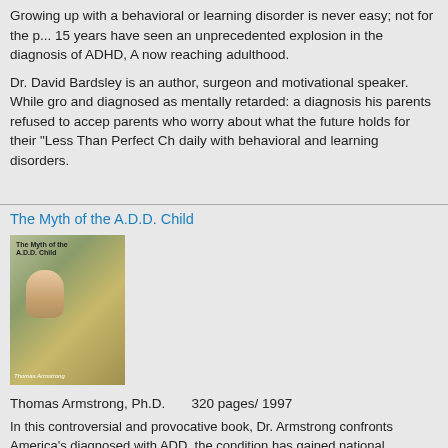Growing up with a behavioral or learning disorder is never easy; not for the p... 15 years have seen an unprecedented explosion in the diagnosis of ADHD, A... now reaching adulthood.
Dr. David Bardsley is an author, surgeon and motivational speaker. While gro... and diagnosed as mentally retarded: a diagnosis his parents refused to accep... parents who worry about what the future holds for their “Less Than Perfect Ch... daily with behavioral and learning disorders.
The Myth of the A.D.D. Child
[Figure (photo): Book cover of 'The Myth of the A.D.D. Child' showing a child's face on a green/yellow background]
Thomas Armstrong, Ph.D.        320 pages/ 1997
In this controversial and provocative book, Dr. Armstrong confronts America's... diagnosed with ADD, the condition has gained national attention. Dr. Armstro... real argument that ADD may, in fact, not exist. He believes that many behavio... emotional, and educational influences, and that by tackling the root causes of... with medication and behavior-modification programs, parents can help their c... groundbreaking book provides parents and professionals with 50 innovative a... and behavior problems.